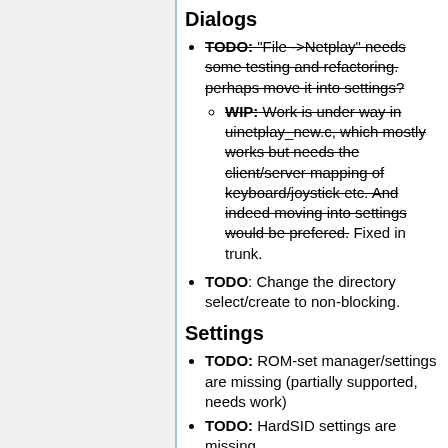Dialogs
TODO: "File ->Netplay" needs some testing and refactoring. perhaps move it into settings? WIP: Work is under way in uinetplay_new.c, which mostly works but needs the client/server mapping of keyboard/joystick etc. And indeed moving into settings would be prefered. Fixed in trunk.
TODO: Change the directory select/create to non-blocking.
Settings
TODO: ROM-set manager/settings are missing (partially supported, needs work)
TODO: HardSID settings are missing
TODO: move the "userport joystick adapter" checkbox and combobox to